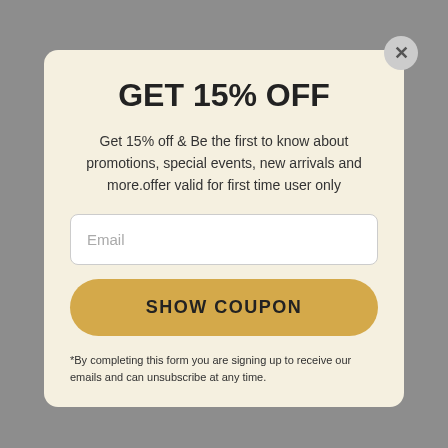GET 15% OFF
Get 15% off & Be the first to know about promotions, special events, new arrivals and more.offer valid for first time user only
Email
SHOW COUPON
*By completing this form you are signing up to receive our emails and can unsubscribe at any time.